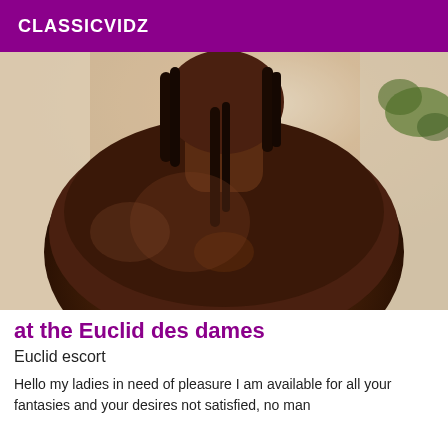CLASSICVIDZ
[Figure (photo): Shirtless man photographed from chest up, dark skin, dreadlocks, indoor background with plant visible]
at the Euclid des dames
Euclid escort
Hello my ladies in need of pleasure I am available for all your fantasies and your desires not satisfied, no man